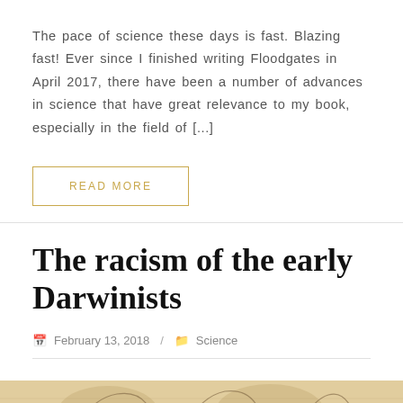The pace of science these days is fast. Blazing fast! Ever since I finished writing Floodgates in April 2017, there have been a number of advances in science that have great relevance to my book, especially in the field of [...]
READ MORE
The racism of the early Darwinists
February 13, 2018 / Science
[Figure (illustration): Historical engraving or illustration, partially visible, showing figures in a vintage style with warm sepia/tan background tones.]